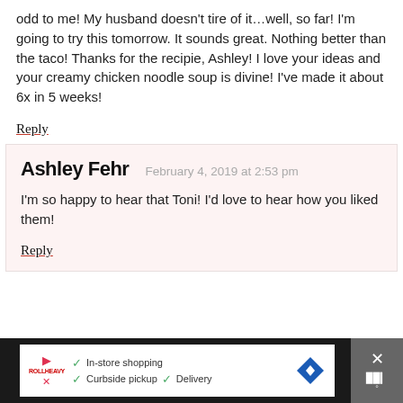odd to me! My husband doesn't tire of it…well, so far! I'm going to try this tomorrow. It sounds great. Nothing better than the taco! Thanks for the recipie, Ashley! I love your ideas and your creamy chicken noodle soup is divine! I've made it about 6x in 5 weeks!
Reply
Ashley Fehr   February 4, 2019 at 2:53 pm
I'm so happy to hear that Toni! I'd love to hear how you liked them!
Reply
[Figure (screenshot): Advertisement bar with in-store shopping, curbside pickup, and delivery options]